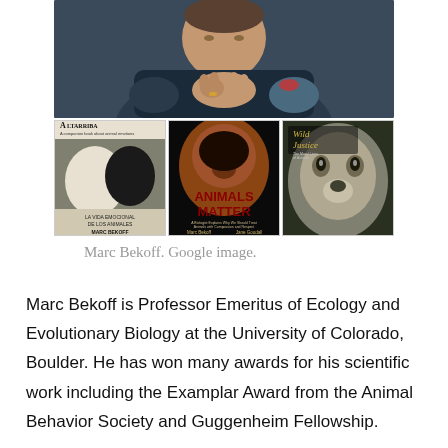[Figure (photo): Photo of Marc Bekoff sitting with hands clasped, wearing dark jacket, along with three book covers: Altarriba (La Vida Emocional de los Animales) by Marc Bekoff, Animals Matter by Marc Bekoff and Jane Goodall, and Wild Justice.]
Marc Bekoff. Google image.
Marc Bekoff is Professor Emeritus of Ecology and Evolutionary Biology at the University of Colorado, Boulder. He has won many awards for his scientific work including the Examplar Award from the Animal Behavior Society and Guggenheim Fellowship.